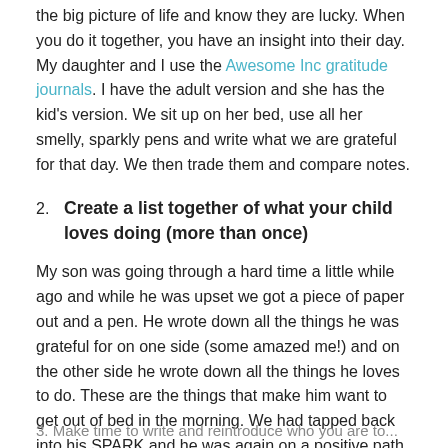the big picture of life and know they are lucky. When you do it together, you have an insight into their day. My daughter and I use the Awesome Inc gratitude journals. I have the adult version and she has the kid's version. We sit up on her bed, use all her smelly, sparkly pens and write what we are grateful for that day. We then trade them and compare notes.
2. Create a list together of what your child loves doing (more than once)
My son was going through a hard time a little while ago and while he was upset we got a piece of paper out and a pen. He wrote down all the things he was grateful for on one side (some amazed me!) and on the other side he wrote down all the things he loves to do. These are the things that make him want to get out of bed in the morning. We had tapped back into his SPARK and he was again on a positive path.
3. Make time to write and reintroduce who you are to...